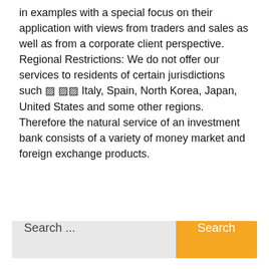in examples with a special focus on their application with views from traders and sales as well as from a corporate client perspective. Regional Restrictions: We do not offer our services to residents of certain jurisdictions such ▨ ▨▨ Italy, Spain, North Korea, Japan, United States and some other regions. Therefore the natural service of an investment bank consists of a variety of money market and foreign exchange products.
Search ...